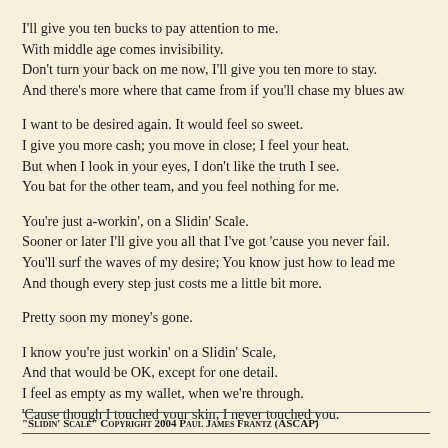I'll give you ten bucks to pay attention to me.
With middle age comes invisibility.
Don't turn your back on me now, I'll give you ten more to stay.
And there's more where that came from if you'll chase my blues aw
I want to be desired again. It would feel so sweet.
I give you more cash; you move in close; I feel your heat.
But when I look in your eyes, I don't like the truth I see.
You bat for the other team, and you feel nothing for me.
You're just a-workin', on a Slidin' Scale.
Sooner or later I'll give you all that I've got 'cause you never fail.
You'll surf the waves of my desire; You know just how to lead me
And though every step just costs me a little bit more.
Pretty soon my money's gone.
I know you're just workin' on a Slidin' Scale,
And that would be OK, except for one detail.
I feel as empty as my wallet, when we're through.
'Cause though I touched your skin, I never touched you.
"Slidin' Scale" Copyright 2004 Paul James Frantz (ASCAP)